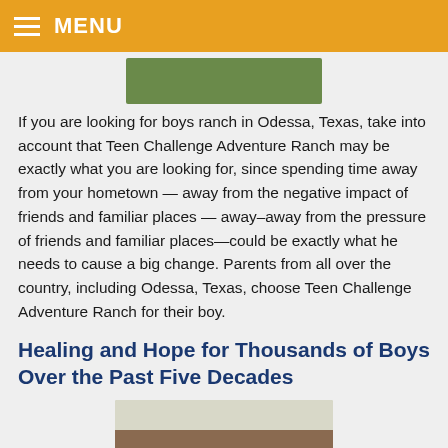MENU
[Figure (photo): Top portion of an outdoor image, partially cropped at the top of the page]
If you are looking for boys ranch in Odessa, Texas, take into account that Teen Challenge Adventure Ranch may be exactly what you are looking for, since spending time away from your hometown — away from the negative impact of friends and familiar places — away–away from the pressure of friends and familiar places—could be exactly what he needs to cause a big change. Parents from all over the country, including Odessa, Texas, choose Teen Challenge Adventure Ranch for their boy.
Healing and Hope for Thousands of Boys Over the Past Five Decades
[Figure (photo): Bottom partially visible photo showing a building exterior with a person in front]